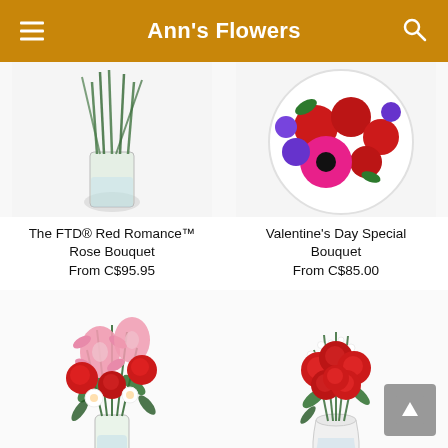Ann's Flowers
[Figure (photo): Partial top view of The FTD Red Romance Rose Bouquet - green stems visible in glass vase]
[Figure (photo): Partial top view of Valentine's Day Special Bouquet - red roses, pink gerbera daisies, purple flowers in circular arrangement]
The FTD® Red Romance™ Rose Bouquet
From C$95.95
Valentine's Day Day Special Bouquet
From C$85.00
[Figure (photo): Flower bouquet with pink lilies, red roses, and white flowers in a clear glass vase]
[Figure (photo): Red rose bouquet with baby's breath in a white vase]